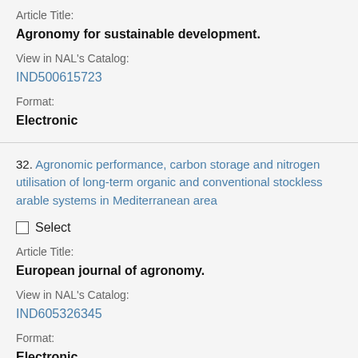Article Title:
Agronomy for sustainable development.
View in NAL's Catalog:
IND500615723
Format:
Electronic
32. Agronomic performance, carbon storage and nitrogen utilisation of long-term organic and conventional stockless arable systems in Mediterranean area
Select
Article Title:
European journal of agronomy.
View in NAL's Catalog:
IND605326345
Format:
Electronic